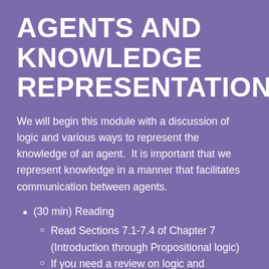AGENTS AND KNOWLEDGE REPRESENTATION
We will begin this module with a discussion of logic and various ways to represent the knowledge of an agent.  It is important that we represent knowledge in a manner that facilitates communication between agents.
(30 min) Reading
Read Sections 7.1-7.4 of Chapter 7 (Introduction through Propositional logic)
If you need a review on logic and knowledge representations, there is a great overview in chapters 7, 8 and...